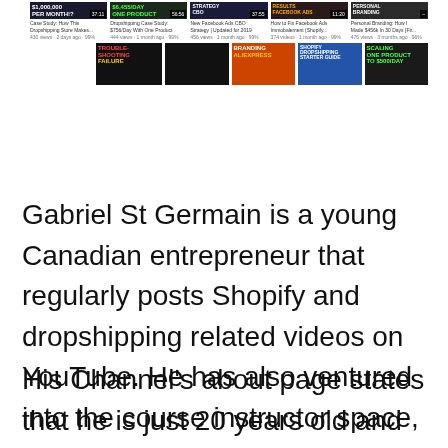[Figure (screenshot): YouTube channel page screenshot showing a grid of video thumbnails related to Shopify dropshipping, Facebook Ads, and e-commerce topics.]
Gabriel St Germain is a young Canadian entrepreneur that regularly posts Shopify and dropshipping related videos on YouTube. He has also ventured into the course instructor space, with his course eCom Blueprint being the first of what I expect to be many.
His Channel's about page states that he is just 20 years old and that he decided to drop out of university to focus on his online businesses full time.